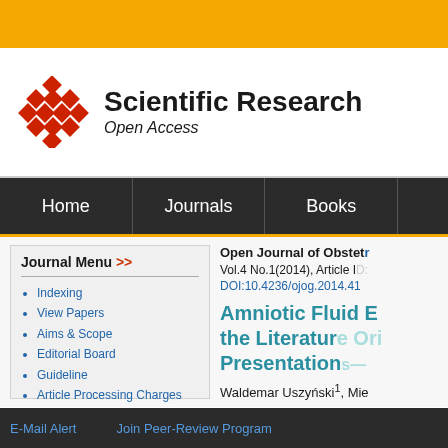[Figure (logo): Scientific Research Open Access logo with red diamond lattice pattern and text]
Home | Journals | Books
Journal Menu >>
Indexing
View Papers
Aims & Scope
Editorial Board
Guideline
Article Processing Charges
Paper Submission
Open Journal of Obstetrics
Vol.4 No.1(2014), Article ID:
DOI:10.4236/ojog.2014.41
Amniotic Fluid E... the Literature Ori... Presentations—
Waldemar Uszyński¹, Mie...
E-Mail Alert   Join Peer-Review Program